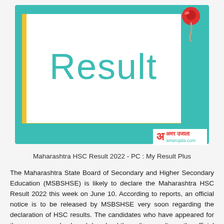[Figure (illustration): Teal/green background with a white rectangular card bordered by yellow on left and bottom edges. The word 'Result' is displayed in large teal text on the white card. A red pushpin is in the upper-right corner. An Amar Ujala logo watermark is in the bottom-right.]
Maharashtra HSC Result 2022 - PC : My Result Plus
The Maharashtra State Board of Secondary and Higher Secondary Education (MSBSHSE) is likely to declare the Maharashtra HSC Result 2022 this week on June 10. According to reports, an official notice is to be released by MSBSHSE very soon regarding the declaration of HSC results. The candidates who have appeared for the exams can check and download the online results on the official website of the Maharashtra State Board - mahresult.nic.in.